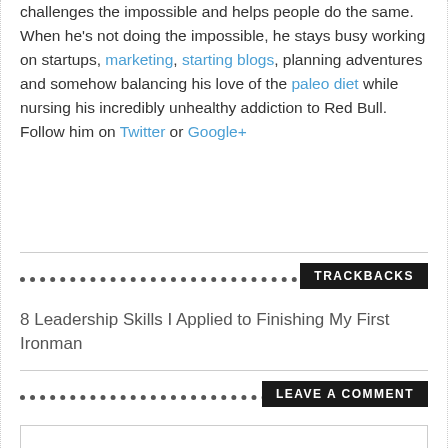challenges the impossible and helps people do the same. When he's not doing the impossible, he stays busy working on startups, marketing, starting blogs, planning adventures and somehow balancing his love of the paleo diet while nursing his incredibly unhealthy addiction to Red Bull. Follow him on Twitter or Google+
TRACKBACKS
8 Leadership Skills I Applied to Finishing My First Ironman
LEAVE A COMMENT